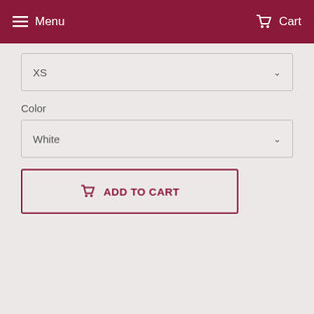Menu   Cart
XS
Color
White
ADD TO CART
Are you an addict?  Have you joined the pack? Express your sassy & playful side with our great selection of funny graphic tees for women & men.  Our T-shirts comes in varieties of sizes, & great